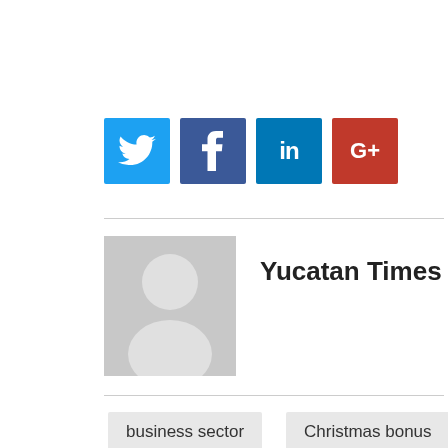[Figure (infographic): Social media share buttons: Twitter (blue), Facebook (dark blue), LinkedIn (blue), Google+ (red)]
[Figure (photo): Generic user avatar placeholder (grey background with white silhouette)]
Yucatan Times
business sector
Christmas bonus
Coparmex Mérida
coronavirus pandemic
economic reactivation
Economy